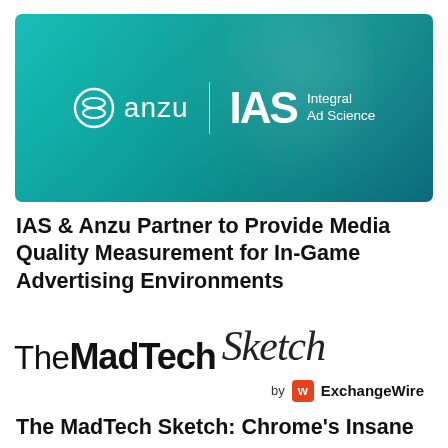[Figure (logo): Banner image with teal/green gradient background showing person in background. Contains anzu logo (stylized circular icon + 'anzu' text) on left, vertical divider, and IAS Integral Ad Science logo on right, all in white.]
IAS & Anzu Partner to Provide Media Quality Measurement for In-Game Advertising Environments
[Figure (logo): The MadTech Sketch logo — 'The' in thin sans-serif, 'MadTech' in bold black sans-serif, 'Sketch' in cursive/script style, followed by 'by ExchangeWire' with ExchangeWire logo (orange/red W icon).]
The MadTech Sketch: Chrome's Insane